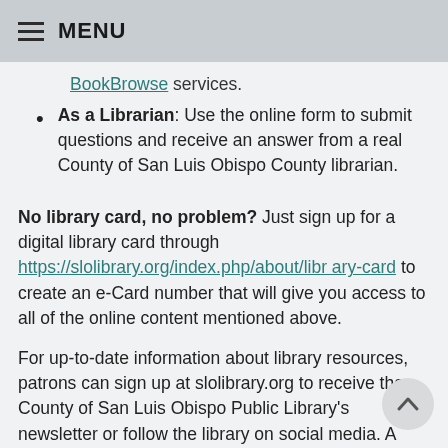MENU
BookBrowse services.
As a Librarian: Use the online form to submit questions and receive an answer from a real County of San Luis Obispo County librarian.
No library card, no problem? Just sign up for a digital library card through https://slolibrary.org/index.php/about/library-card to create an e-Card number that will give you access to all of the online content mentioned above.
For up-to-date information about library resources, patrons can sign up at slolibrary.org to receive the County of San Luis Obispo Public Library's newsletter or follow the library on social media. A landing page for the library's digital